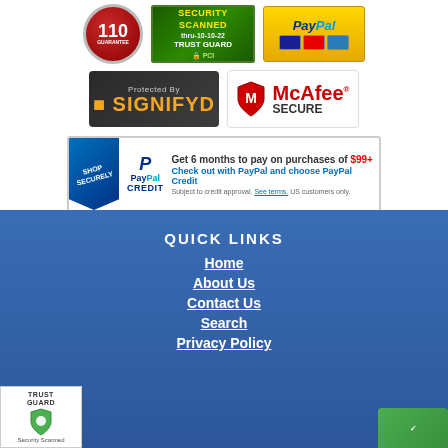[Figure (logo): 110 guarantee badge - red circular badge]
[Figure (logo): Trust Guard Security Scanned PCI badge - green]
[Figure (logo): PayPal accepted payments badge - gold background]
[Figure (logo): Signifyd Protected By dark badge]
[Figure (logo): McAfee Secure badge with red shield]
[Figure (infographic): PayPal Credit banner - Get 6 months to pay on purchases of $99+]
Get 6 months to pay on purchases of $99+
Check out with PayPal and choose PayPal Credit
Subject to credit approval. See terms. US customers only.
[Figure (logo): BillMeLater logo - 6 months to pay with no interest]
6 months to pay with no interest
QUICK LINKS
Home
About Us
Contact Us
Search
Privacy Policy
[Figure (logo): Trust Guard Security Scanned footer badge]
[Figure (logo): Green badge bottom right]